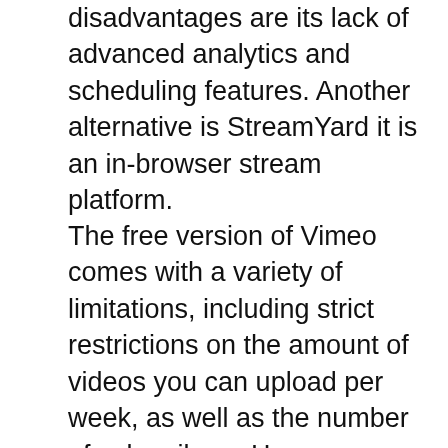disadvantages are its lack of advanced analytics and scheduling features. Another alternative is StreamYard it is an in-browser stream platform.
The free version of Vimeo comes with a variety of limitations, including strict restrictions on the amount of videos you can upload per week, as well as the number of subscribers. However, these limitations shouldn't be a problem. While Vimeo offers the free plan, it's restricted in features and access to international audiences. You also don't get customized onboarding or account management. And if you're looking for an alternative to Vimeo alternative that's inexpensive and powerful, you should consider the StreamYard Vimeo alternative,